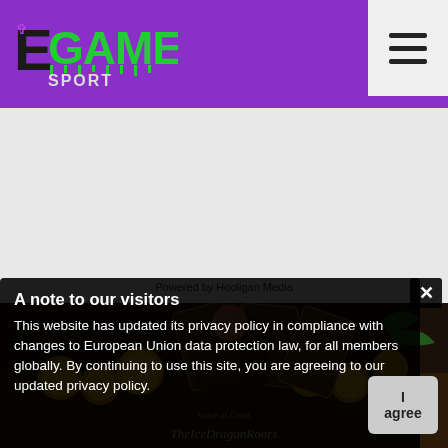E GAMERZ SPORT — navigation header with hamburger menu
Powered by Hooligan Media
[Figure (screenshot): Game card scene showing fantasy card game artwork with a character and golden coins, partially visible. Text overlays include 'Voice of Cards' and 'TheIceDragonRoars'.]
A note to our visitors
This website has updated its privacy policy in compliance with changes to European Union data protection law, for all members globally. By continuing to use this site, you are agreeing to our updated privacy policy.